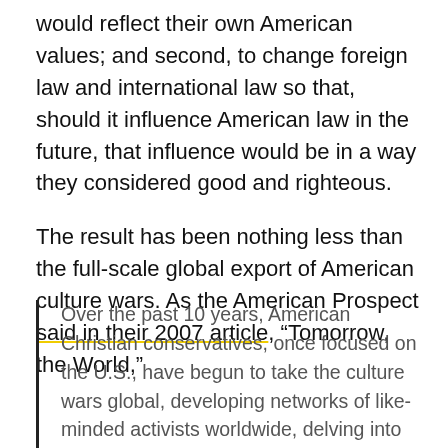would reflect their own American values; and second, to change foreign law and international law so that, should it influence American law in the future, that influence would be in a way they considered good and righteous.
The result has been nothing less than the full-scale global export of American culture wars. As the American Prospect said in their 2007 article, “Tomorrow, the World,”
Over the past 10 years, American Christian conservatives, once focused on the U.S., have begun to take the culture wars global, developing networks of like-minded activists worldwide, delving into legal battles overseas, and